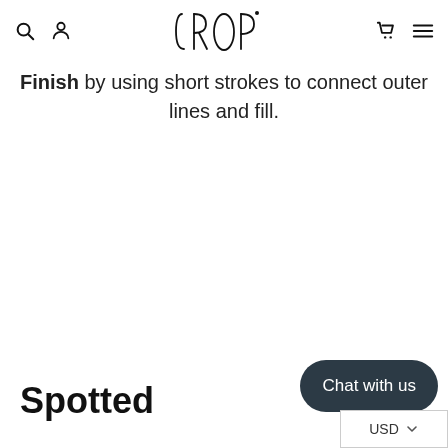CROP (logo with search, account, cart, menu icons)
Finish by using short strokes to connect outer lines and fill.
[Figure (other): Add To Cart button (teal/green rounded rectangle)]
Spotted
[Figure (other): Chat with us dark pill-shaped button overlay]
[Figure (other): USD currency selector dropdown in bottom right corner]